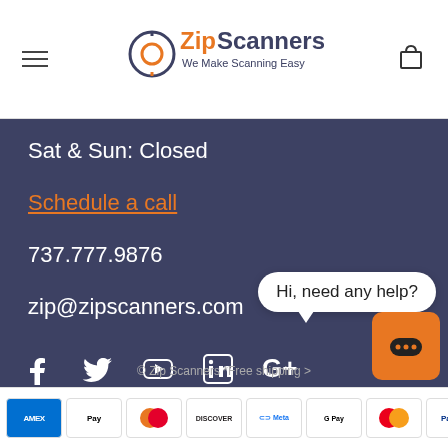[Figure (logo): ZipScanners logo with tagline 'We Make Scanning Easy']
Sat & Sun: Closed
Schedule a call
737.777.9876
zip@zipscanners.com
[Figure (other): Social media icons: Facebook, Twitter, YouTube, LinkedIn, Google+]
© Zip Scanners *Free shipping >
[Figure (other): Chat bubble saying 'Hi, need any help?' with orange chat button]
[Figure (other): Payment icons: AMEX, Apple Pay, Diners Club, Discover, Meta Pay, Google Pay, Mastercard, PayPal]